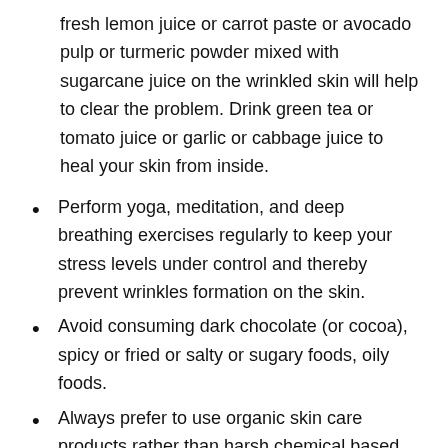fresh lemon juice or carrot paste or avocado pulp or turmeric powder mixed with sugarcane juice on the wrinkled skin will help to clear the problem. Drink green tea or tomato juice or garlic or cabbage juice to heal your skin from inside.
Perform yoga, meditation, and deep breathing exercises regularly to keep your stress levels under control and thereby prevent wrinkles formation on the skin.
Avoid consuming dark chocolate (or cocoa), spicy or fried or salty or sugary foods, oily foods.
Always prefer to use organic skin care products rather than harsh chemical based products to prevent the damage of your skin.
Vaseline helps to lock the moisture in your skin and prevent wrinkles. So, apply a thin layer of Vaseline at night before bedtime. Leave for overnight and wash your